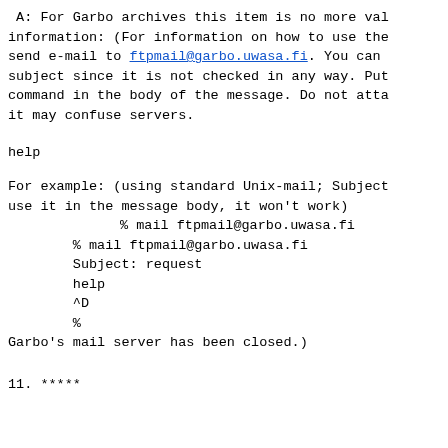A: For Garbo archives this item is no more val information: (For information on how to use the send e-mail to ftpmail@garbo.uwasa.fi. You can subject since it is not checked in any way. Put command in the body of the message. Do not atta it may confuse servers.
help
For example: (using standard Unix-mail; Subject use it in the message body, it won't work)
        % mail ftpmail@garbo.uwasa.fi
        Subject: request
        help
        ^D
        %
Garbo's mail server has been closed.)
11. *****